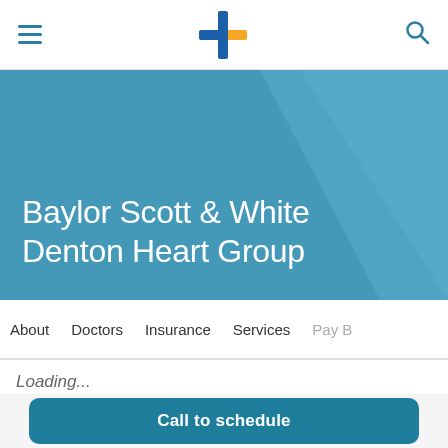Baylor Scott & White – Navigation bar with hamburger menu, logo, and search icon
Baylor Scott & White Denton Heart Group
About   Doctors   Insurance   Services   Pay B
Loading...
Call to schedule